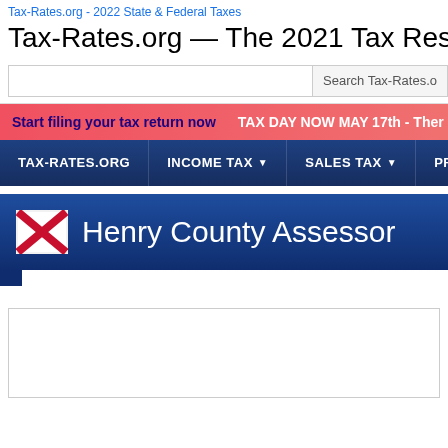Tax-Rates.org - 2022 State & Federal Taxes
Tax-Rates.org — The 2021 Tax Resource
Search Tax-Rates.o
Start filing your tax return now  TAX DAY NOW MAY 17th - Ther
TAX-RATES.ORG  INCOME TAX  SALES TAX  PROPERTY TA
Henry County Assessor